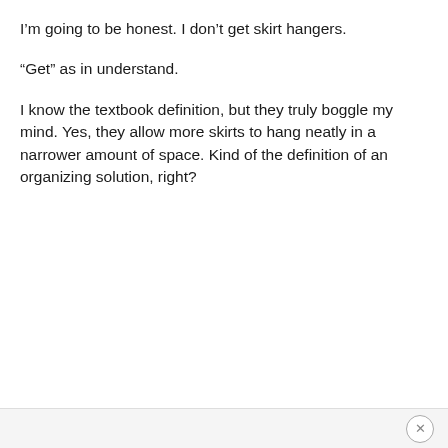I'm going to be honest. I don't get skirt hangers.
“Get” as in understand.
I know the textbook definition, but they truly boggle my mind. Yes, they allow more skirts to hang neatly in a narrower amount of space. Kind of the definition of an organizing solution, right?